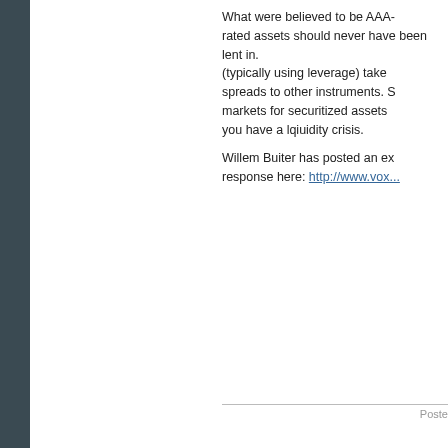What were believed to be AAA-rated assets should never have been lent in. (typically using leverage) take spreads to other instruments. S markets for securitized assets you have a lqiuidity crisis.
Willem Buiter has posted an ex response here: http://www.vox...
Posted
[Figure (illustration): Green geometric flower/mandala pattern avatar icon]
Sorry, my last line got cut off w
"I assume you have read it, bu is quite good and is freely avai http://www.mises.org/mysteryo
[Figure (illustration): Green geometric flower/mandala pattern avatar icon]
What is Justin Rietz talking abo business cycle theory are not a entrepreneurs responding ratio prices.